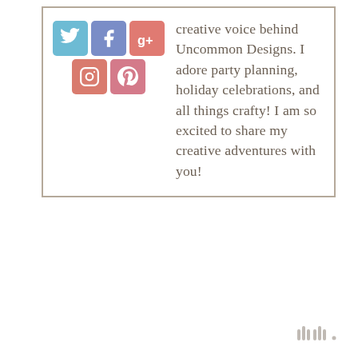[Figure (infographic): Social media icon buttons: Twitter (blue bird), Facebook (blue f), Google+ (red g+), Instagram (red camera), Pinterest (red P)]
creative voice behind Uncommon Designs. I adore party planning, holiday celebrations, and all things crafty! I am so excited to share my creative adventures with you!
[Figure (logo): Small Mediavine watermark logo in bottom right corner]